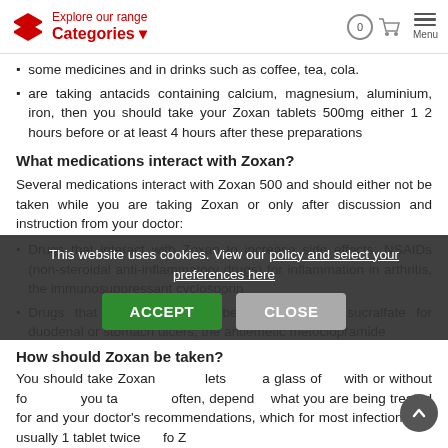Explore our range Categories
some medicines and in drinks such as coffee, tea, cola.
are taking antacids containing calcium, magnesium, aluminium, iron, then you should take your Zoxan tablets 500mg either 1 2 hours before or at least 4 hours after these preparations
What medications interact with Zoxan?
Several medications interact with Zoxan 500 and should either not be taken while you are taking Zoxan or only after discussion and instruction from your doctor:
Drugs that interact with Zoxan to increase side effects: NSAIDs (non-steroidal anti-inflammatory drugs) for inflammation in arthritis, the immunosuppressant cyclosporin
Drugs that affect Zoxan: probenecid for gout, sucralfate for duodenal or stomach ulcers, the antiemetic metoclopramide
Drugs that are affected by Zoxan: theophylline for asthma, anticoagulants like warfarin, glibenclamide for diabetes, methotrexate used to treat certain types of cancers, severe
How should Zoxan be taken?
You should take Zoxan tablets with a glass of water, with or without food. How often you take it, and how often, depends on what you are being treated for and your doctor's recommendations, which for most infections is usually 1 tablet twice daily to Z...